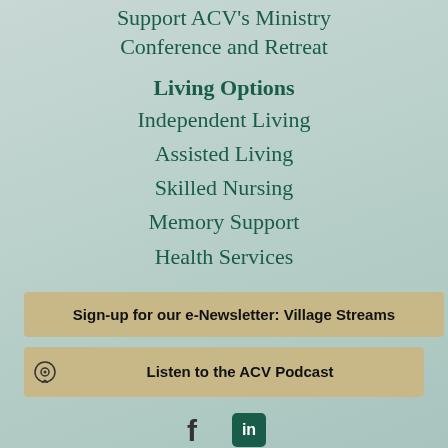Support ACV's Ministry Conference and Retreat
Living Options
Independent Living
Assisted Living
Skilled Nursing
Memory Support
Health Services
Sign-up for our e-Newsletter: Village Streams
Listen to the ACV Podcast
[Figure (other): Facebook and LinkedIn social media icons]
Search Our Site - Search button